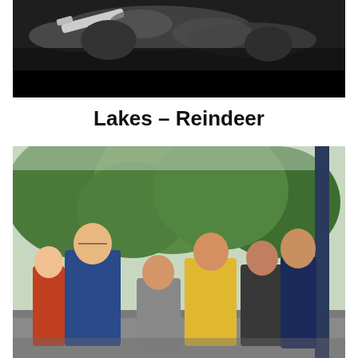[Figure (photo): Black and white photo of performers, one holding a white guitar, lying/posing on a dark surface]
Lakes – Reindeer
[Figure (photo): Color photo of a band of six people standing outdoors in front of green trees, wearing casual clothes including blue jackets and a yellow hoodie]